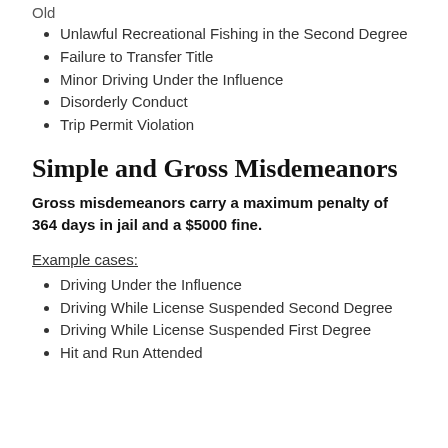Old
Unlawful Recreational Fishing in the Second Degree
Failure to Transfer Title
Minor Driving Under the Influence
Disorderly Conduct
Trip Permit Violation
Simple and Gross Misdemeanors
Gross misdemeanors carry a maximum penalty of 364 days in jail and a $5000 fine.
Example cases:
Driving Under the Influence
Driving While License Suspended Second Degree
Driving While License Suspended First Degree
Hit and Run Attended